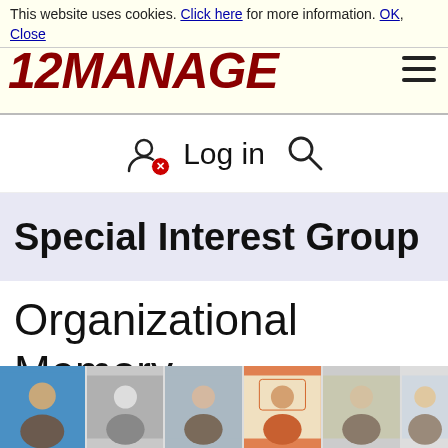This website uses cookies. Click here for more information. OK, Close
[Figure (logo): 12MANAGE logo in dark red bold italic text with hamburger menu icon]
Log in
Special Interest Group
Organizational Memory Group.
[Figure (photo): Row of profile photos of group members]